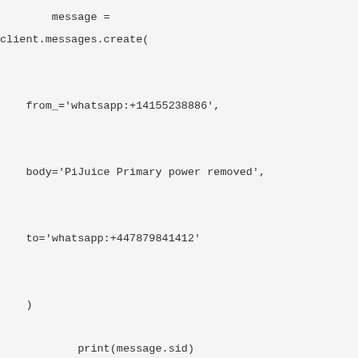message =
client.messages.create(


    from_='whatsapp:+14155238886',


    body='PiJuice Primary power removed',


    to='whatsapp:+447879841412'


    )

        print(message.sid)

        sleep(5)